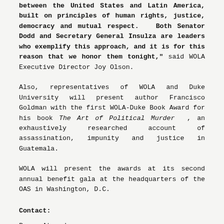between the United States and Latin America, built on principles of human rights, justice, democracy and mutual respect.  Both Senator Dodd and Secretary General Insulza are leaders who exemplify this approach, and it is for this reason that we honor them tonight," said WOLA Executive Director Joy Olson.
Also, representatives of WOLA and Duke University will present author Francisco Goldman with the first WOLA-Duke Book Award for his book The Art of Political Murder, an exhaustively researched account of assassination, impunity and justice in Guatemala.
WOLA will present the awards at its second annual benefit gala at the headquarters of the OAS in Washington, D.C.
Contact:
Roger Atwood
Ratwood@wola.org
(202) 797 2171